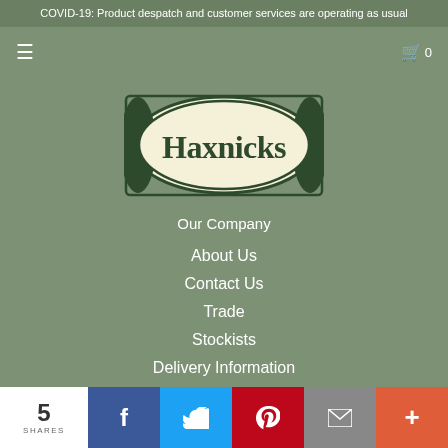COVID-19: Product despatch and customer services are operating as usual
[Figure (logo): Haxnicks oval logo with dark green border and serif text on cream background]
Our Company
About Us
Contact Us
Trade
Stockists
Delivery Information
Returns Policy
5 SHARES